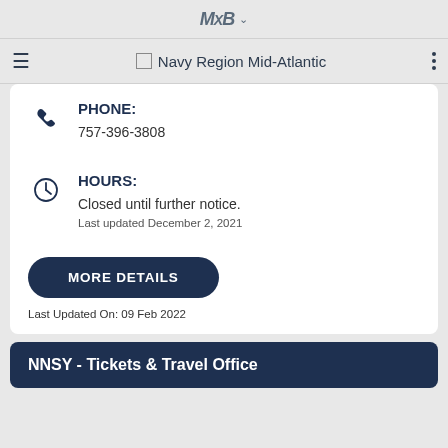MXB (logo) Navy Region Mid-Atlantic
PHONE: 757-396-3808
HOURS: Closed until further notice. Last updated December 2, 2021
MORE DETAILS
Last Updated On: 09 Feb 2022
NNSY - Tickets & Travel Office